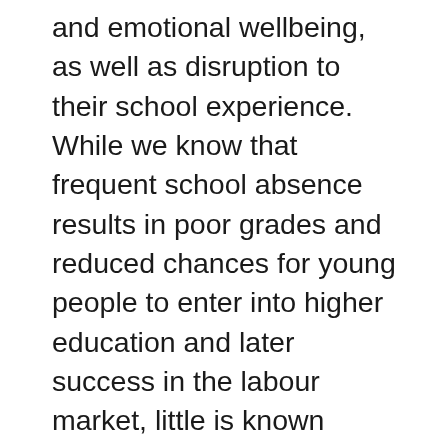and emotional wellbeing, as well as disruption to their school experience. While we know that frequent school absence results in poor grades and reduced chances for young people to enter into higher education and later success in the labour market, little is known regarding how to support children with JIA to have a positive school experience. This study provided a detailed account of the challenges they face and what support they need. In the first of two publications from this study, we present findings from an online survey and subsequent interviews with teachers affected by...